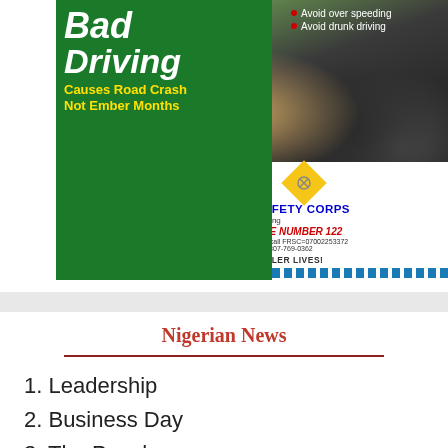[Figure (infographic): Federal Road Safety Corps advertisement: 'Bad Driving Causes Road Crash Not Ember Months' with bullet points to avoid over speeding and drunk driving, crash photo, FRSC logos, toll free number 122, website www.frsc.gov.ng, emergency numbers, and tagline SAFER ROADS, FULLER LIVES!]
Nigerian News
1. Leadership
2. Business Day
3. The Punch